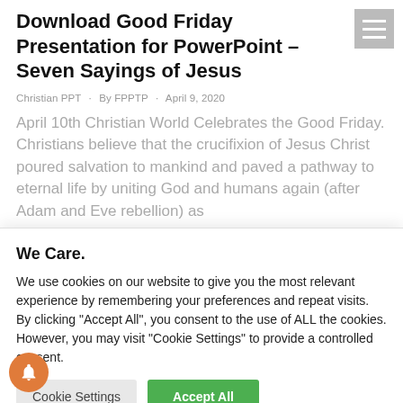Download Good Friday Presentation for PowerPoint – Seven Sayings of Jesus
Christian PPT · By FPPTP · April 9, 2020
April 10th Christian World Celebrates the Good Friday. Christians believe that the crucifixion of Jesus Christ poured salvation to mankind and paved a pathway to eternal life by uniting God and humans again (after Adam and Eve rebellion) as
We Care.
We use cookies on our website to give you the most relevant experience by remembering your preferences and repeat visits. By clicking "Accept All", you consent to the use of ALL the cookies. However, you may visit "Cookie Settings" to provide a controlled consent.